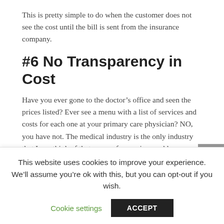This is pretty simple to do when the customer does not see the cost until the bill is sent from the insurance company.
#6 No Transparency in Cost
Have you ever gone to the doctor’s office and seen the prices listed? Ever see a menu with a list of services and costs for each one at your primary care physician? NO, you have not. The medical industry is the only industry that I can think of that you go for services and have no idea of the cost. Whenever you have your car worked on, the first thing you ask is how much it will cost. The same goes for your house and just about anything else the costs you
This website uses cookies to improve your experience. We’ll assume you’re ok with this, but you can opt-out if you wish. Cookie settings ACCEPT